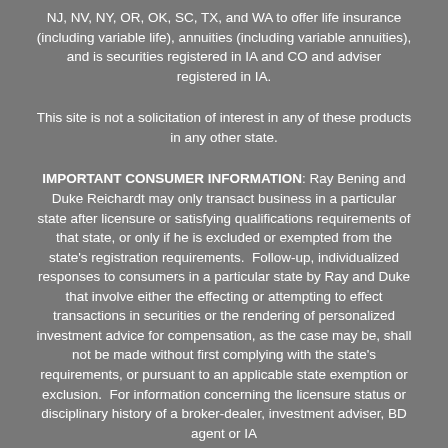NJ, NV, NY, OR, OK, SC, TX, and WA to offer life insurance (including variable life), annuities (including variable annuities), and is securities registered in IA and CO and adviser registered in IA.
This site is not a solicitation of interest in any of these products in any other state.
IMPORTANT CONSUMER INFORMATION: Ray Bening and Duke Reichardt may only transact business in a particular state after licensure or satisfying qualifications requirements of that state, or only if he is excluded or exempted from the state's registration requirements. Follow-up, individualized responses to consumers in a particular state by Ray and Duke that involve either the effecting or attempting to effect transactions in securities or the rendering of personalized investment advice for compensation, as the case may be, shall not be made without first complying with the state's requirements, or pursuant to an applicable state exemption or exclusion. For information concerning the licensure status or disciplinary history of a broker-dealer, investment adviser, BD agent or IA